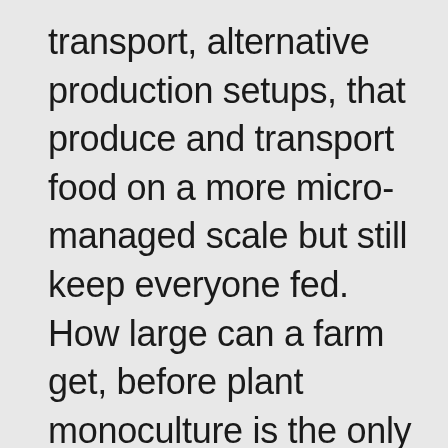transport, alternative production setups, that produce and transport food on a more micro-managed scale but still keep everyone fed. How large can a farm get, before plant monoculture is the only way to run it?  How small can a farm be, before it gets too small to feed anyone but